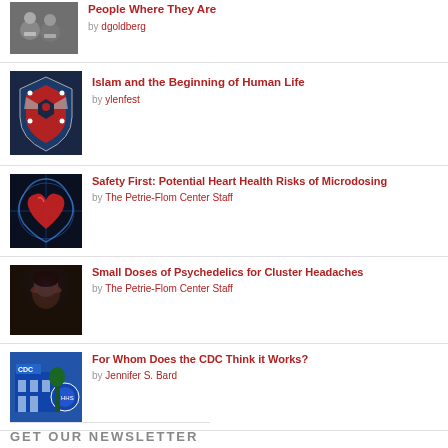People Where They Are by dgoldberg
Islam and the Beginning of Human Life by ylenfest
Safety First: Potential Heart Health Risks of Microdosing by The Petrie-Flom Center Staff
Small Doses of Psychedelics for Cluster Headaches by The Petrie-Flom Center Staff
For Whom Does the CDC Think it Works? by Jennifer S. Bard
GET OUR NEWSLETTER